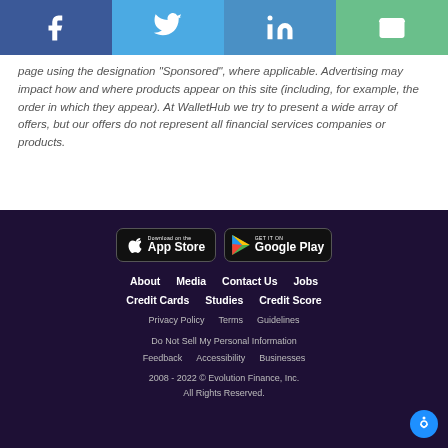[Figure (infographic): Social media share buttons bar: Facebook (blue), Twitter (light blue), LinkedIn (blue), Email (green)]
page using the designation "Sponsored", where applicable. Advertising may impact how and where products appear on this site (including, for example, the order in which they appear). At WalletHub we try to present a wide array of offers, but our offers do not represent all financial services companies or products.
[Figure (infographic): App store download buttons: Download on the App Store (Apple) and GET IT ON Google Play]
About   Media   Contact Us   Jobs
Credit Cards   Studies   Credit Score
Privacy Policy   Terms   Guidelines
Do Not Sell My Personal Information
Feedback   Accessibility   Businesses
2008 - 2022 © Evolution Finance, Inc. All Rights Reserved.